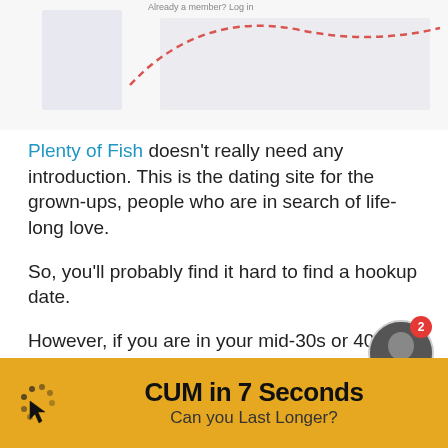[Figure (screenshot): Partial screenshot of a chart or graph with a red dashed curve on light background, cropped at top]
Plenty of Fish doesn't really need any introduction. This is the dating site for the grown-ups, people who are in search of life-long love.
So, you'll probably find it hard to find a hookup date.
However, if you are in your mid-30s or 40s then you should definitely create your profile on this site.
[Figure (infographic): Yellow advertisement banner: CUM in 7 Seconds / Can you Last Longer? with cursor/loading icon on left and profile photo badge with notification on right]